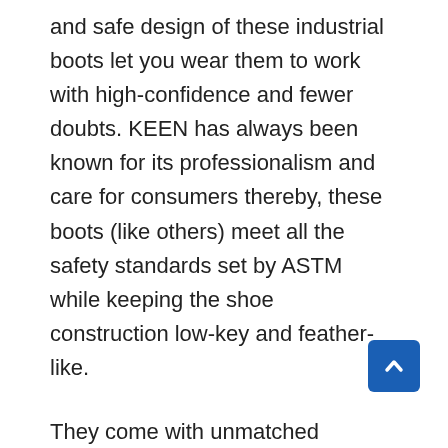and safe design of these industrial boots let you wear them to work with high-confidence and fewer doubts. KEEN has always been known for its professionalism and care for consumers thereby, these boots (like others) meet all the safety standards set by ASTM while keeping the shoe construction low-key and feather-like.
They come with unmatched versatility and an array of designs to choose from. The brown cascade design fits almost all occasions like a puzzle for working men. It can help whether they want to flaunt them on the weekends at a party or gear them up during their daily labor. These boots will blend in with most clothing and styles,